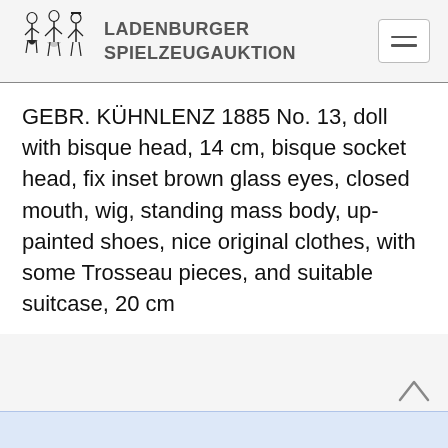LADENBURGER SPIELZEUGAUKTION
GEBR. KÜHNLENZ 1885 No. 13, doll with bisque head, 14 cm, bisque socket head, fix inset brown glass eyes, closed mouth, wig, standing mass body, up-painted shoes, nice original clothes, with some Trosseau pieces, and suitable suitcase, 20 cm